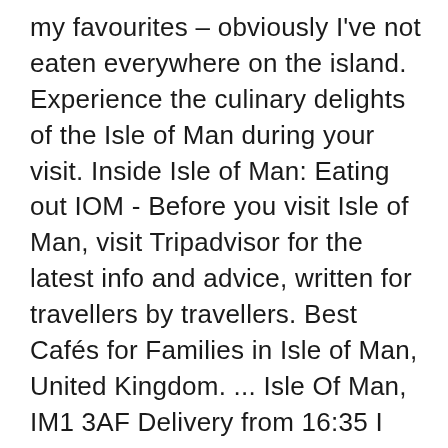my favourites – obviously I've not eaten everywhere on the island. Experience the culinary delights of the Isle of Man during your visit. Inside Isle of Man: Eating out IOM - Before you visit Isle of Man, visit Tripadvisor for the latest info and advice, written for travellers by travellers. Best Cafés for Families in Isle of Man, United Kingdom. ... Isle Of Man, IM1 3AF Delivery from 16:35 I want to collect Click here if you or someone you are ordering for has a food allergy Tap here if you or someone you are ordering for has a food allergy Note: Delivering to all campsites in Douglas and Unmills. If you see any information here that is incorrect, please let us know. Dining in Isle of Man, United Kingdom: See